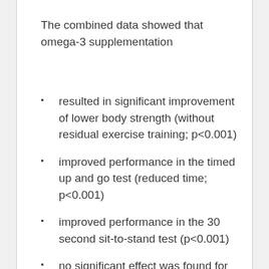The combined data showed that omega-3 supplementation
resulted in significant improvement of lower body strength (without residual exercise training; p<0.001)
improved performance in the timed up and go test (reduced time; p<0.001)
improved performance in the 30 second sit-to-stand test (p<0.001)
no significant effect was found for omega-3 supplementation